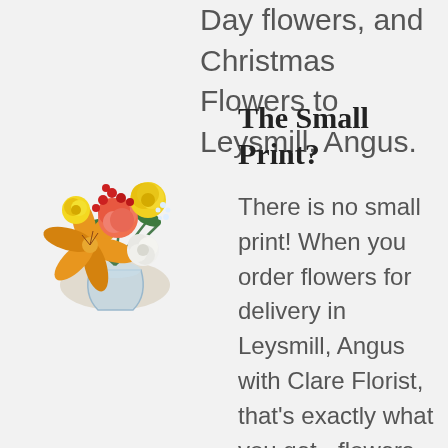Day flowers, and Christmas Flowers to Leysmill, Angus.
[Figure (photo): A colorful flower bouquet arrangement featuring orange lilies, coral/orange carnations, yellow roses, red berries, white chrysanthemums, and green foliage in a glass vase.]
The Small Print?
There is no small print! When you order flowers for delivery in Leysmill, Angus with Clare Florist, that's exactly what you get - flowers delivered in Leysmill, Angus, without any fuss.